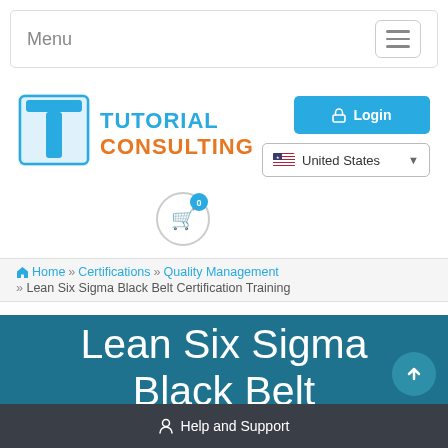Menu
[Figure (logo): Tutorial Consulting logo with blue T icon and orange CONSULTING text]
Login
United States
[Figure (illustration): Shopping cart icon with badge showing 0]
Home » Certifications » Quality Management » Lean Six Sigma Black Belt Certification Training
Lean Six Sigma Black Belt
Help and Support